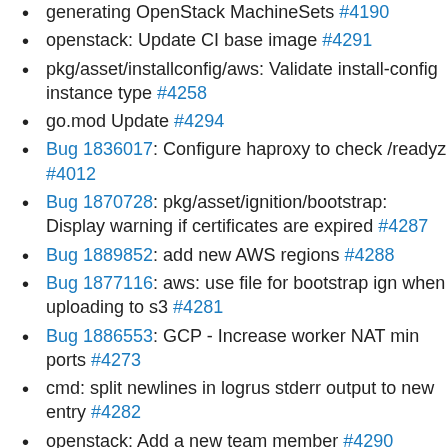generating OpenStack MachineSets #4190
openstack: Update CI base image #4291
pkg/asset/installconfig/aws: Validate install-config instance type #4258
go.mod Update #4294
Bug 1836017: Configure haproxy to check /readyz #4012
Bug 1870728: pkg/asset/ignition/bootstrap: Display warning if certificates are expired #4287
Bug 1889852: add new AWS regions #4288
Bug 1877116: aws: use file for bootstrap ign when uploading to s3 #4281
Bug 1886553: GCP - Increase worker NAT min ports #4273
cmd: split newlines in logrus stderr output to new entry #4282
openstack: Add a new team member #4290
Bug 1882649: Determine Glance disk format based on file extension #4279